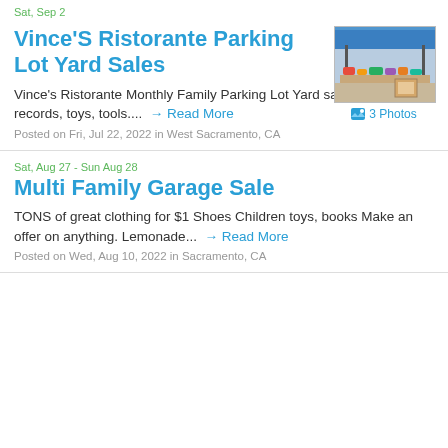Sat, Sep 2
Vince'S Ristorante Parking Lot Yard Sales
[Figure (photo): Outdoor yard sale under a blue canopy tent with merchandise on tables]
3 Photos
Vince's Ristorante Monthly Family Parking Lot Yard sales. Clothing, records, toys, tools....  → Read More
Posted on Fri, Jul 22, 2022 in West Sacramento, CA
Sat, Aug 27 - Sun Aug 28
Multi Family Garage Sale
TONS of great clothing for $1 Shoes Children toys, books Make an offer on anything. Lemonade...  → Read More
Posted on Wed, Aug 10, 2022 in Sacramento, CA